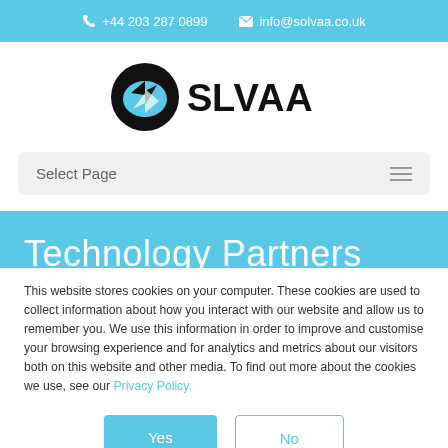+44 203 287 0899   info@solvaa.co.uk
[Figure (logo): SOLVAA company logo with circular icon containing a face/puzzle piece graphic]
Select Page
Technology Partners
This website stores cookies on your computer. These cookies are used to collect information about how you interact with our website and allow us to remember you. We use this information in order to improve and customise your browsing experience and for analytics and metrics about our visitors both on this website and other media. To find out more about the cookies we use, see our Privacy Policy.
Yes
No